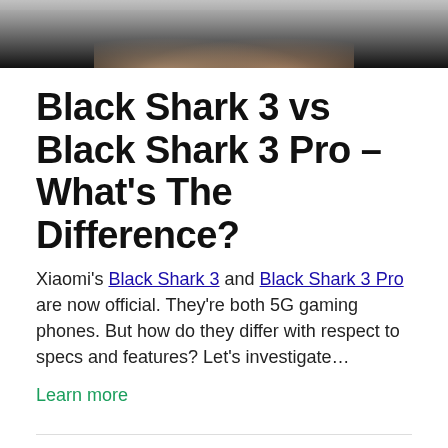[Figure (photo): Top portion of a photo showing two hands holding a smartphone, cropped to show only the top edge of the device and partial hands against a dark background.]
Black Shark 3 vs Black Shark 3 Pro – What's The Difference?
Xiaomi's Black Shark 3 and Black Shark 3 Pro are now official. They're both 5G gaming phones. But how do they differ with respect to specs and features? Let's investigate…
Learn more